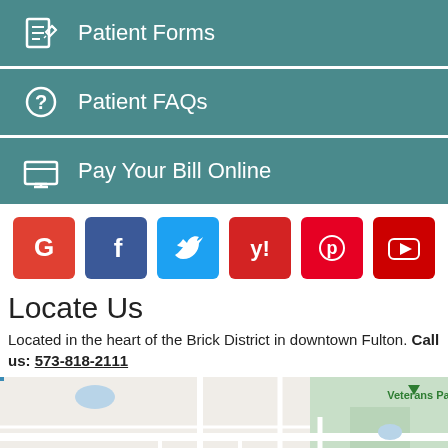Patient Forms
Patient FAQs
Pay Your Bill Online
[Figure (infographic): Social media icons row: Google, Facebook, Twitter, Yelp, Pinterest, YouTube]
Locate Us
Located in the heart of the Brick District in downtown Fulton. Call us: 573-818-2111
[Figure (map): Google Maps view of downtown Fulton, MO showing Veterans Park, America's National Churchill Museum, Beks restaurant, W 4th St, Bluff St, and Callaway County labels]